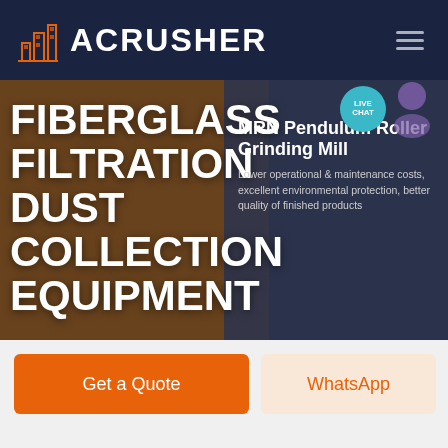ACRUSHER
FIBERGLASS FILTRATION DUST COLLECTION EQUIPMENT
MRN Pendulum Roller Grinding Mill
Lower operational & maintenance costs, excellent environmental protection, better quality of finished products
LIVE CHAT
HOME / PRODUCTS
[Figure (screenshot): Industrial dust collection machine/equipment in background]
Get a Quote
WhatsApp